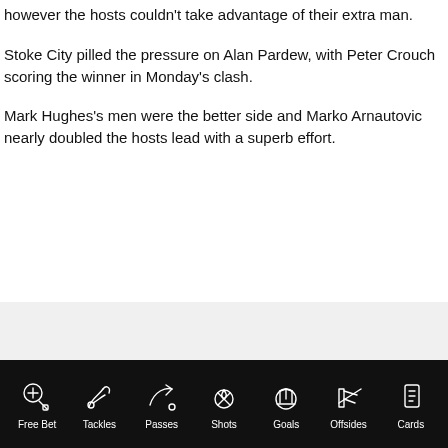however the hosts couldn't take advantage of their extra man.
Stoke City pilled the pressure on Alan Pardew, with Peter Crouch scoring the winner in Monday's clash.
Mark Hughes's men were the better side and Marko Arnautovic nearly doubled the hosts lead with a superb effort.
[Figure (other): Grey placeholder image area]
Free Bet | Tackles | Passes | Shots | Goals | Offsides | Cards